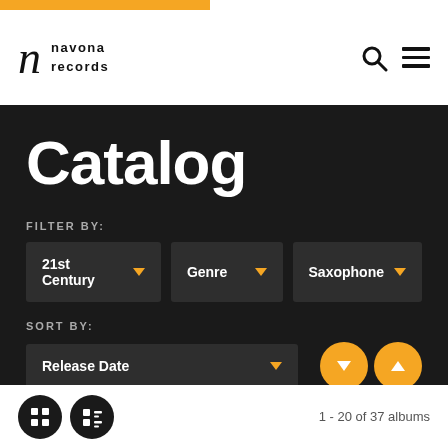[Figure (logo): Navona Records logo with stylized italic n and text 'navona records']
Catalog
FILTER BY:
21st Century
Genre
Saxophone
SORT BY:
Release Date
1 - 20 of 37 albums